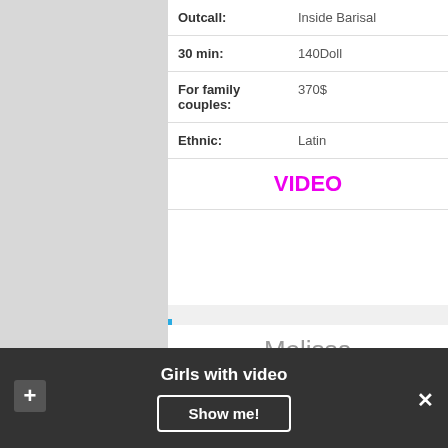| Outcall: | Inside Barisal |
| 30 min: | 140Doll |
| For family couples: | 370$ |
| Ethnic: | Latin |
VIDEO
My name is Sophia ! I am a beautiful Russian lady with all natural body big brown eyes and fantastic skills !
Melissa
Girls with video
Show me!